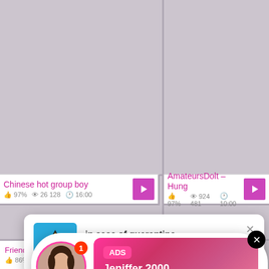[Figure (screenshot): Video thumbnail grid cell top-left, gray placeholder]
[Figure (screenshot): Video thumbnail grid cell top-right, gray placeholder]
Chinese hot group boy 👍 97% 👁 26 128 🕐 16:00
AmateursDolt – Hung 👍 97% 👁 924 481 🕐 10:00
[Figure (screenshot): Video thumbnail grid cell middle-left, gray placeholder]
[Figure (screenshot): Video thumbnail grid cell middle-right, gray placeholder]
[Figure (infographic): Advertisement notification card: 'in case of quarantine' with biohazard/quarantine warning icon, Advertisement label, tap here to view]
[Figure (infographic): Live notification pill: avatar of woman with LIVE badge, ADS label, Jeniffer 2000, (00:12) with emoji, close button]
Frien… 👍 86%
[Figure (screenshot): Gray video thumbnail bottom-right with play button]